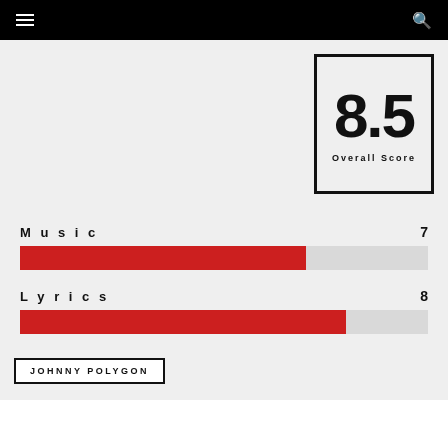☰  🔍
[Figure (infographic): Score box showing 8.5 Overall Score]
[Figure (bar-chart): Ratings]
JOHNNY POLYGON